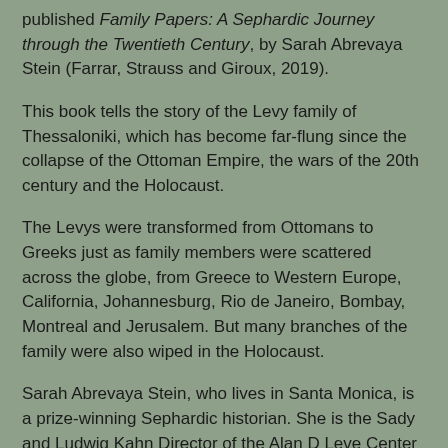published Family Papers: A Sephardic Journey through the Twentieth Century, by Sarah Abrevaya Stein (Farrar, Strauss and Giroux, 2019).
This book tells the story of the Levy family of Thessaloniki, which has become far-flung since the collapse of the Ottoman Empire, the wars of the 20th century and the Holocaust.
The Levys were transformed from Ottomans to Greeks just as family members were scattered across the globe, from Greece to Western Europe, California, Johannesburg, Rio de Janeiro, Bombay, Montreal and Jerusalem. But many branches of the family were also wiped in the Holocaust.
Sarah Abrevaya Stein, who lives in Santa Monica, is a prize-winning Sephardic historian. She is the Sady and Ludwig Kahn Director of the Alan D Leve Center for Jewish Studies, Professor of History and the Maurice Amado Chair in Sephardic Studies at UCLA, and the author or editor of nine books.